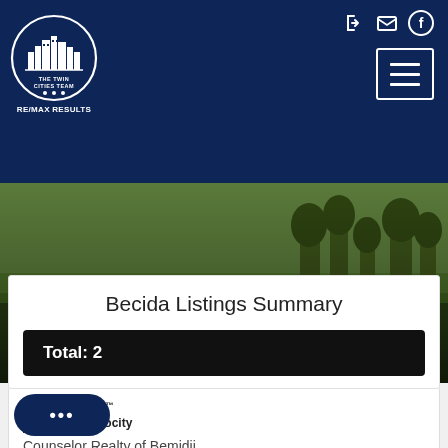[Figure (logo): The Twin Cities Team RE/MAX Results circular logo in white on dark navy background, with hamburger menu icon and social media icons]
[Figure (photo): Outdoor field/meadow property photo with green grass and trees, showing address 44119 County 3 and price $194900 overlaid]
44119 County 3
$194900
[Figure (logo): Broker Reciprocity house logo with text Broker Reciprocity]
Counselor Realty of Bemidji
Becida Listings Summary
Total: 2